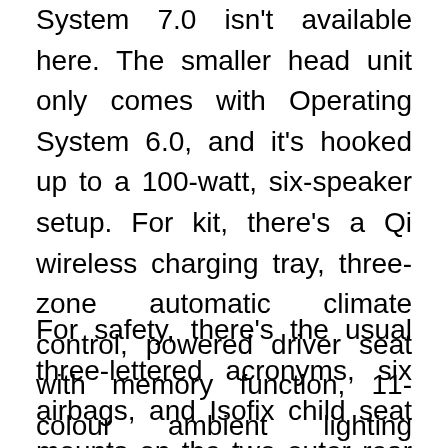System 7.0 isn't available here. The smaller head unit only comes with Operating System 6.0, and it's hooked up to a 100-watt, six-speaker setup. For kit, there's a Qi wireless charging tray, three-zone automatic climate control, powered driver seat with memory function, 11-colour ambient lighting system, and contactless boot opening.
For safety, there's the usual three-lettered acronyms, six airbags, and Isofix child seat mounts on the two outer rear seats. As with most BMWs in Malaysia, the 320i Sport doesn't get